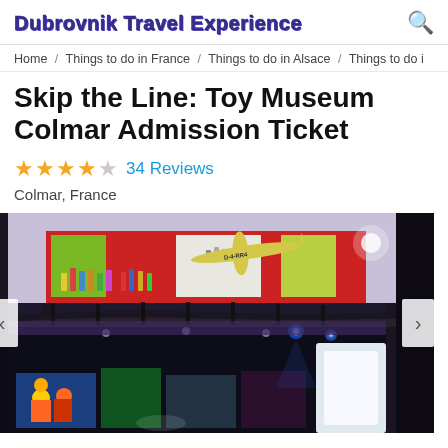Dubrovnik Travel Experience
Home / Things to do in France / Things to do in Alsace / Things to do i
Skip the Line: Toy Museum Colmar Admission Ticket
★★★★☆ 34 Reviews
Colmar, France
[Figure (photo): Interior of Toy Museum Colmar showing multi-level display with colorful toy exhibits on red-lit shelves, a model airplane labeled D-4-RR4 hanging from the ceiling, curved black railings on gallery levels, and stage lighting illuminating displays.]